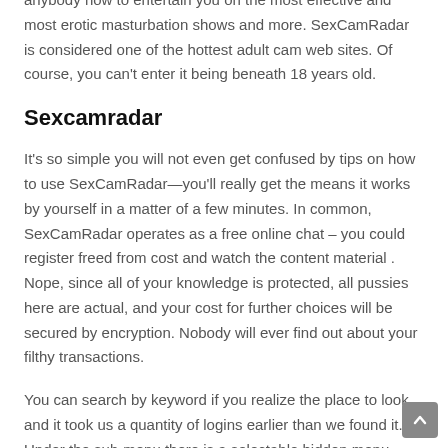anybody how to entertain you on the most effective and most erotic masturbation shows and more. SexCamRadar is considered one of the hottest adult cam web sites. Of course, you can't enter it being beneath 18 years old.
Sexcamradar
It's so simple you will not even get confused by tips on how to use SexCamRadar—you'll really get the means it works by yourself in a matter of a few minutes. In common, SexCamRadar operates as a free online chat – you could register freed from cost and watch the content material . Nope, since all of your knowledge is protected, all pussies here are actual, and your cost for further choices will be secured by encryption. Nobody will ever find out about your filthy transactions.
You can search by keyword if you realize the place to look and it took us a quantity of logins earlier than we found it. Under the sub-menu there is a selectable hidden menu called, 'Advanced